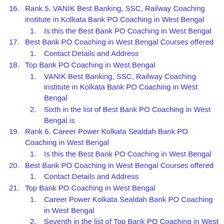16. Rank 5. VANIK Best Banking, SSC, Railway Coaching institute in Kolkata Bank PO Coaching in West Bengal
1. Is this the Best Bank PO Coaching in West Bengal
17. Best Bank PO Coaching in West Bengal Courses offered
1. Contact Details and Address
18. Top Bank PO Coaching in West Bengal
1. VANIK Best Banking, SSC, Railway Coaching institute in Kolkata Bank PO Coaching in West Bengal
2. Sixth in the list of Best Bank PO Coaching in West Bengal is
19. Rank 6. Career Power Kolkata Sealdah Bank PO Coaching in West Bengal
1. Is this the Best Bank PO Coaching in West Bengal
20. Best Bank PO Coaching in West Bengal Courses offered
1. Contact Details and Address
21. Top Bank PO Coaching in West Bengal
1. Career Power Kolkata Sealdah Bank PO Coaching in West Bengal
2. Seventh in the list of Top Bank PO Coaching in West Bengal is